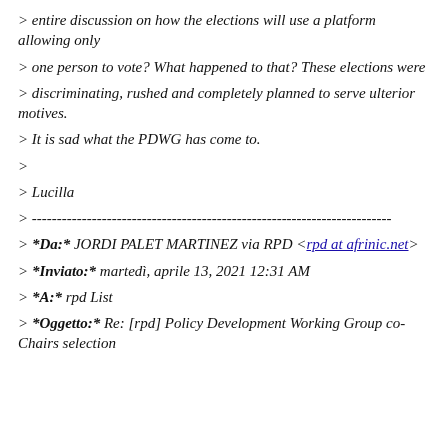> entire discussion on how the elections will use a platform allowing only
> one person to vote? What happened to that? These elections were
> discriminating, rushed and completely planned to serve ulterior motives.
> It is sad what the PDWG has come to.
>
> Lucilla
> ------------------------------------------------------------------------
> *Da:* JORDI PALET MARTINEZ via RPD <rpd at afrinic.net>
> *Inviato:* martedì, aprile 13, 2021 12:31 AM
> *A:* rpd List
> *Oggetto:* Re: [rpd] Policy Development Working Group co-Chairs selection